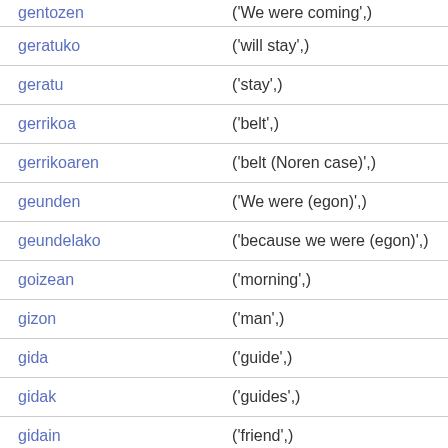| Term | Translation |
| --- | --- |
| gentozen | ('We were coming',) |
| geratuko | ('will stay',) |
| geratu | ('stay',) |
| gerrikoa | ('belt',) |
| gerrikoaren | ('belt (Noren case)',) |
| geunden | ('We were (egon)',) |
| geundelako | ('because we were (egon)',) |
| goizean | ('morning',) |
| gizon | ('man',) |
| gida | ('guide',) |
| gidak | ('guides',) |
| gidain | ('friend',) |